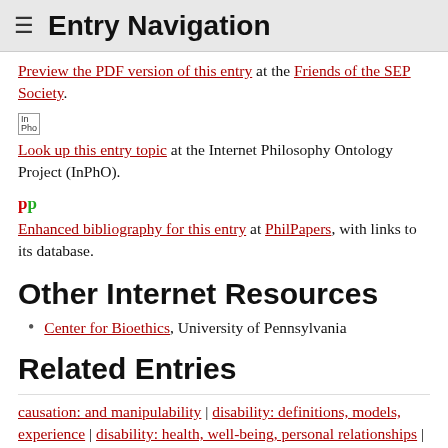≡ Entry Navigation
Preview the PDF version of this entry at the Friends of the SEP Society.
[Figure (logo): InPho logo icon — small stylized text 'In Pho']
Look up this entry topic at the Internet Philosophy Ontology Project (InPhO).
[Figure (logo): PhilPapers logo — 'pp' in red and green bold text]
Enhanced bibliography for this entry at PhilPapers, with links to its database.
Other Internet Resources
Center for Bioethics, University of Pennsylvania
Related Entries
causation: and manipulability | disability: definitions, models, experience | disability: health, well-being, personal relationships | feminist philosophy, interventions: bioethics | human enhancement | mental disorder | social